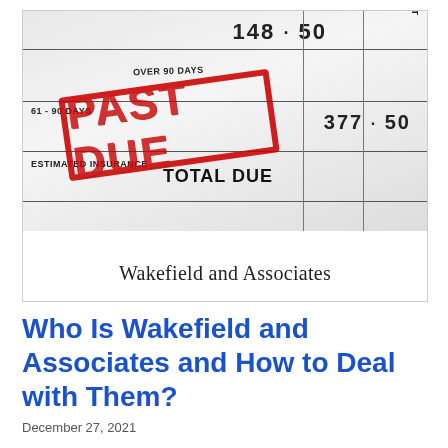[Figure (photo): A bill/invoice document showing amounts (148.50, 377.50) with fields for 61-90 Days, Over 90 Days, Estimated Insurance, Minimum Payment, Total Due — overlaid with a large red distressed 'PAST DUE' rubber stamp. Below the bill image is the text 'Wakefield and Associates'.]
Who Is Wakefield and Associates and How to Deal with Them?
December 27, 2021